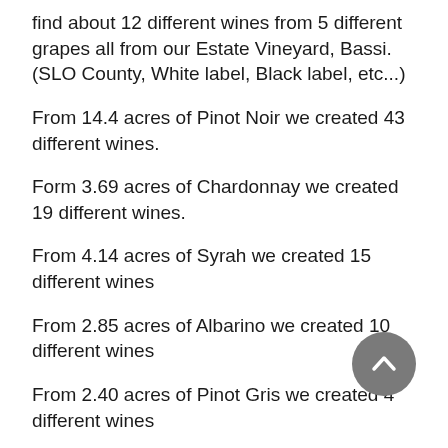find about 12 different wines from 5 different grapes all from our Estate Vineyard, Bassi. (SLO County, White label, Black label, etc...)
From 14.4 acres of Pinot Noir we created 43 different wines.
Form 3.69 acres of Chardonnay we created 19 different wines.
From 4.14 acres of Syrah we created 15 different wines
From 2.85 acres of Albarino we created 10 different wines
From 2.40 acres of Pinot Gris we created 4 different wines
These wines vary by picking dates, yeast type, fermenter type, time on skins, location on ranch, whole cluster or